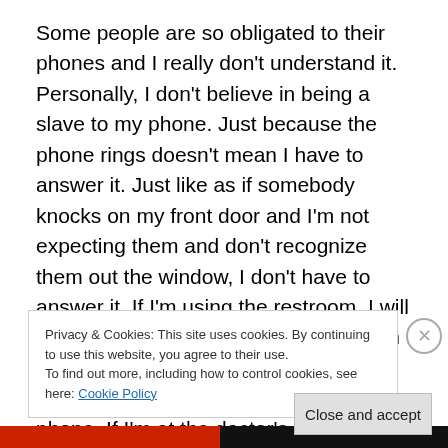Some people are so obligated to their phones and I really don't understand it. Personally, I don't believe in being a slave to my phone. Just because the phone rings doesn't mean I have to answer it. Just like as if somebody knocks on my front door and I'm not expecting them and don't recognize them out the window, I don't have to answer it. If I'm using the restroom, I will not answer my phone. If I'm driving, I'm not answering my phone. If I'm eating dinner with my family, I'll not answer my phone. If I'm at the doctor's office, I'm not answering the phone. If I'm busy with something else that really needs my attention, I'm not
Privacy & Cookies: This site uses cookies. By continuing to use this website, you agree to their use.
To find out more, including how to control cookies, see here: Cookie Policy
Close and accept